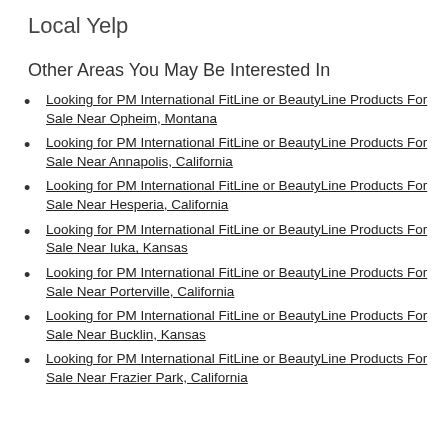Local Yelp
Other Areas You May Be Interested In
Looking for PM International FitLine or BeautyLine Products For Sale Near Opheim, Montana
Looking for PM International FitLine or BeautyLine Products For Sale Near Annapolis, California
Looking for PM International FitLine or BeautyLine Products For Sale Near Hesperia, California
Looking for PM International FitLine or BeautyLine Products For Sale Near Iuka, Kansas
Looking for PM International FitLine or BeautyLine Products For Sale Near Porterville, California
Looking for PM International FitLine or BeautyLine Products For Sale Near Bucklin, Kansas
Looking for PM International FitLine or BeautyLine Products For Sale Near Frazier Park, California